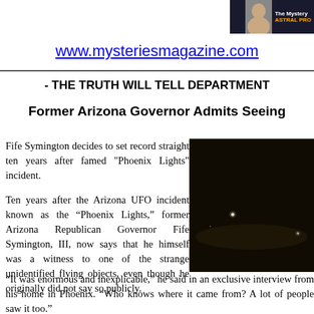[Figure (photo): Header image showing a woman's face and text 'The Mystery' and 'ASTRAL PRO...' on dark background]
www.mysteriesmagazine.com
- THE TRUTH WILL TELL DEPARTMENT
Former Arizona Governor Admits Seeing
Fife Symington decides to set record straight ten years after famed "Phoenix Lights" incident.
Ten years after the Arizona UFO incident known as the “Phoenix Lights,” former Arizona Republican Governor Fife Symington, III, now says that he himself was a witness to one of the strange unidentified flying objects, even though he originally did not say so publicly.
[Figure (photo): Dark night sky photograph showing faint lights, associated with the Phoenix Lights UFO incident]
“It was enormous and inexplicable,” he said in an exclusive interview from his home in Phoenix. “Who knows where it came from? A lot of people saw it too.”